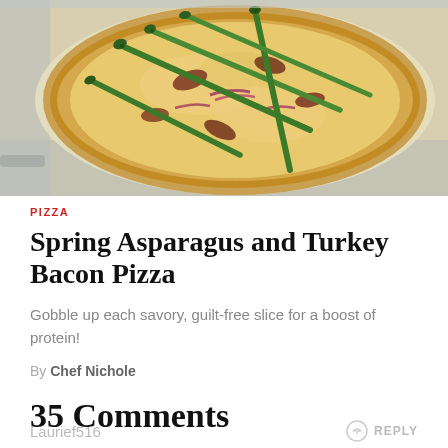[Figure (photo): Overhead photo of a flatbread/cauliflower crust pizza topped with asparagus spears, turkey bacon pieces, red onion slices, and melted cheese on parchment paper.]
PIZZA
Spring Asparagus and Turkey Bacon Pizza
Gobble up each savory, guilt-free slice for a boost of protein!
By Chef Nichole
35 Comments
Laurief516
REPLY